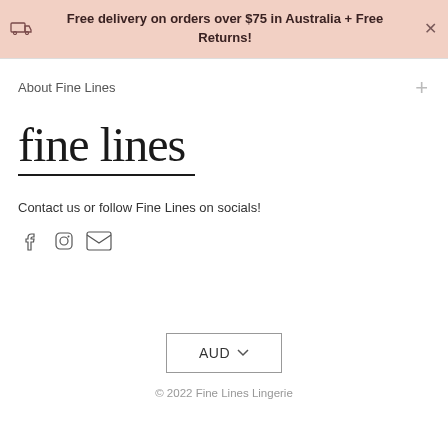Free delivery on orders over $75 in Australia + Free Returns!
About Fine Lines
[Figure (logo): Fine Lines brand logo — lowercase 'fine lines' in serif font with underline]
Contact us or follow Fine Lines on socials!
[Figure (illustration): Social media icons: Facebook, Instagram, Email]
AUD
© 2022 Fine Lines Lingerie